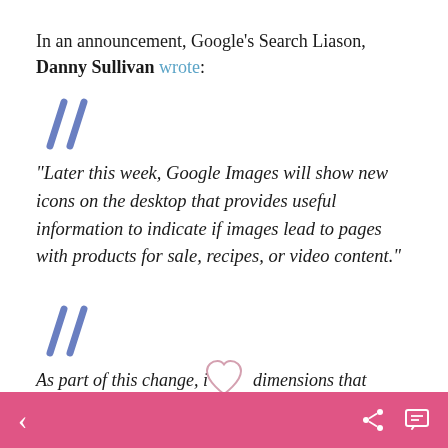In an announcement, Google's Search Liason, Danny Sullivan wrote:
[Figure (illustration): Decorative double-slash quotation mark in blue/purple]
“Later this week, Google Images will show new icons on the desktop that provides useful information to indicate if images lead to pages with products for sale, recipes, or video content.”
[Figure (illustration): Decorative double-slash quotation mark in blue/purple, second instance]
As part of this change, i…dimensions that currently appear for mouse-over…gle Images thumbnails
[Figure (illustration): Heart icon (like button) overlay in center of page]
< (back arrow) | heart icon | share icon | chat icon